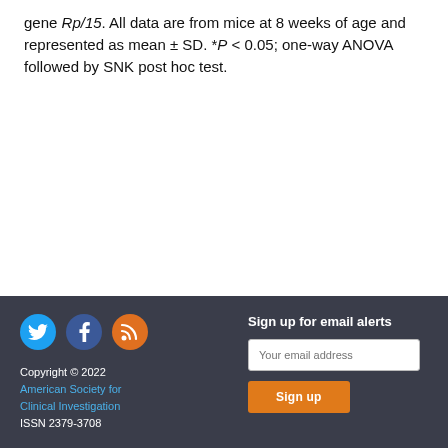gene Rp/15. All data are from mice at 8 weeks of age and represented as mean ± SD. *P < 0.05; one-way ANOVA followed by SNK post hoc test.
Copyright © 2022 American Society for Clinical Investigation ISSN 2379-3708 | Sign up for email alerts